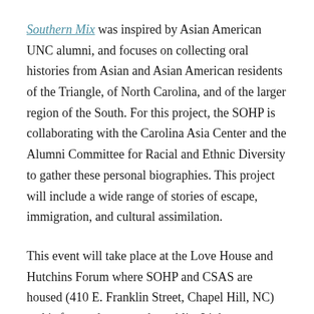Southern Mix was inspired by Asian American UNC alumni, and focuses on collecting oral histories from Asian and Asian American residents of the Triangle, of North Carolina, and of the larger region of the South. For this project, the SOHP is collaborating with the Carolina Asia Center and the Alumni Committee for Racial and Ethnic Diversity to gather these personal biographies. This project will include a wide range of stories of escape, immigration, and cultural assimilation.
This event will take place at the Love House and Hutchins Forum where SOHP and CSAS are housed (410 E. Franklin Street, Chapel Hill, NC) and is free and open to the public. Light refreshments will be served. RSVPs to csas@unc.edu will be appreciated